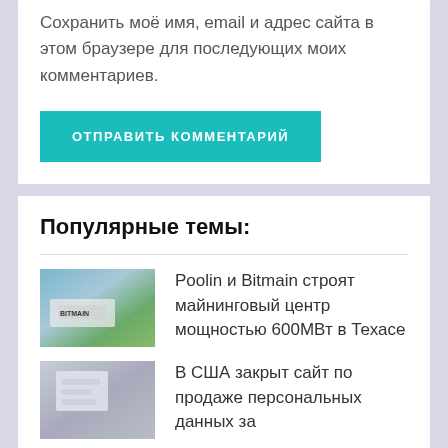Сохранить моё имя, email и адрес сайта в этом браузере для последующих моих комментариев.
ОТПРАВИТЬ КОММЕНТАРИЙ
Популярные темы:
Poolin и Bitmain строят майнинговый центр мощностью 600МВт в Техасе
В США закрыт сайт по продаже персональных данных за